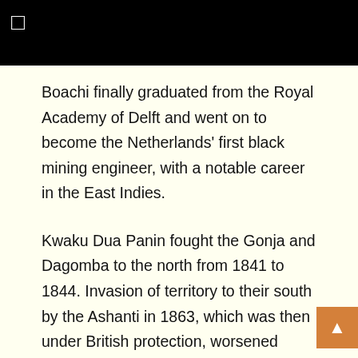[Figure (other): Black header bar with a white square bracket or UI icon in the top-left corner]
Boachi finally graduated from the Royal Academy of Delft and went on to become the Netherlands' first black mining engineer, with a notable career in the East Indies.
Kwaku Dua Panin fought the Gonja and Dagomba to the north from 1841 to 1844. Invasion of territory to their south by the Ashanti in 1863, which was then under British protection, worsened relations with the British.
Kwaku Dua Panin died suddenly on 24 April 1867; he was succeeded by Kofi Karikari.